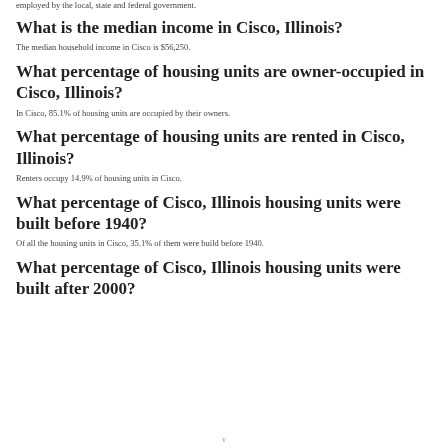employed by the local, state and federal government.
What is the median income in Cisco, Illinois?
The median household income in Cisco is $56,250.
What percentage of housing units are owner-occupied in Cisco, Illinois?
In Cisco, 85.1% of housing units are occupied by their owners.
What percentage of housing units are rented in Cisco, Illinois?
Renters occupy 14.9% of housing units in Cisco.
What percentage of Cisco, Illinois housing units were built before 1940?
Of all the housing units in Cisco, 35.1% of them were build before 1940.
What percentage of Cisco, Illinois housing units were built after 2000?
v